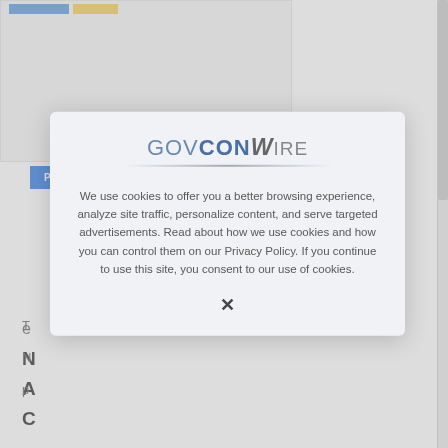[Figure (screenshot): Website screenshot showing top image strip with colored bars]
PRESS RELEASES
[Figure (screenshot): GovConWire cookie consent modal overlay with logo, cookie policy text, and close button X]
We use cookies to offer you a better browsing experience, analyze site traffic, personalize content, and serve targeted advertisements. Read about how we use cookies and how you can control them on our Privacy Policy. If you continue to use this site, you consent to our use of cookies.